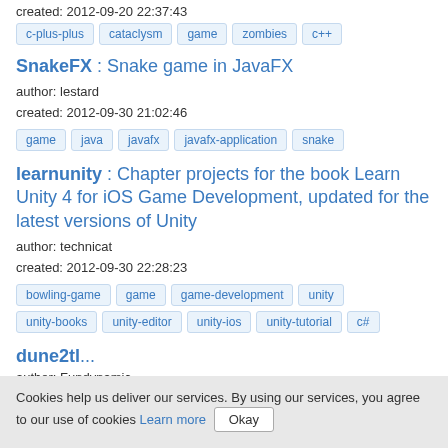created: 2012-09-20 22:37:43
c-plus-plus  cataclysm  game  zombies  c++
SnakeFX : Snake game in JavaFX
author: lestard
created: 2012-09-30 21:02:46
game  java  javafx  javafx-application  snake
learnunity : Chapter projects for the book Learn Unity 4 for iOS Game Development, updated for the latest versions of Unity
author: technicat
created: 2012-09-30 22:28:23
bowling-game  game  game-development  unity
unity-books  unity-editor  unity-ios  unity-tutorial  c#
dune2tl...
author: Fundynamic
Cookies help us deliver our services. By using our services, you agree to our use of cookies Learn more Okay